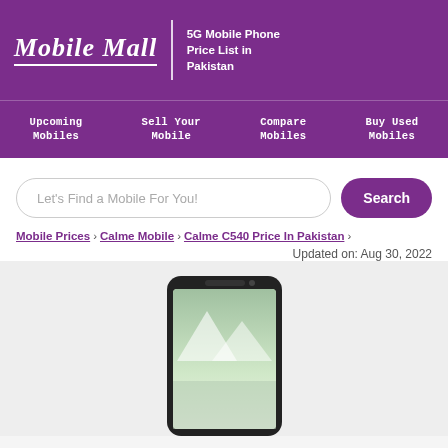Mobile Mall — 5G Mobile Phone Price List in Pakistan
Upcoming Mobiles | Sell Your Mobile | Compare Mobiles | Buy Used Mobiles
Let's Find a Mobile For You!
Search
Mobile Prices > Calme Mobile > Calme C540 Price In Pakistan >
Updated on: Aug 30, 2022
[Figure (photo): Calme C540 smartphone front-facing photo showing a phone with a scenic wallpaper (appears to show a snowy mountain/lake scene), black bezel, front camera and speaker at top.]